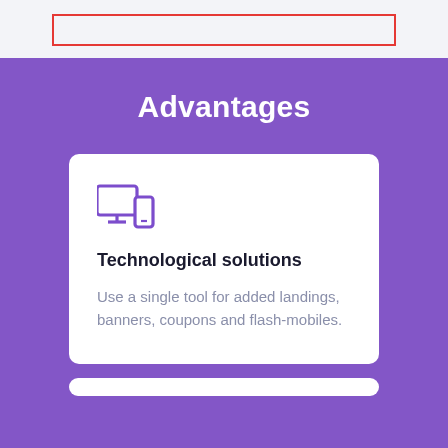[Figure (other): Red-bordered rectangular box on light gray background, likely a navigation or header element placeholder]
Advantages
[Figure (illustration): Purple icon showing a desktop monitor and a mobile phone, representing multi-device/technological solutions]
Technological solutions
Use a single tool for added landings, banners, coupons and flash-mobiles.